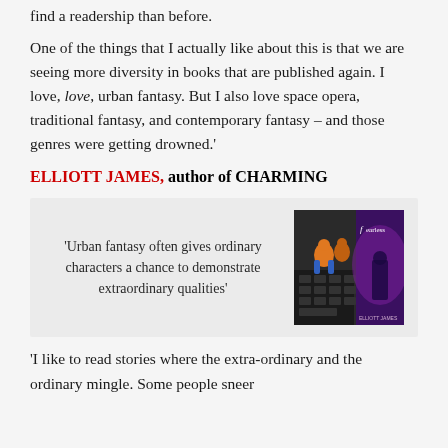find a readership than before.
One of the things that I actually like about this is that we are seeing more diversity in books that are published again. I love, love, urban fantasy. But I also love space opera, traditional fantasy, and contemporary fantasy – and those genres were getting drowned.'
ELLIOTT JAMES, author of CHARMING
[Figure (photo): A quote block with italic serif text reading: 'Urban fantasy often gives ordinary characters a chance to demonstrate extraordinary qualities', next to a book cover image for 'Fearless' by Elliott James showing figurines on a keyboard and a book cover.]
'I like to read stories where the extra-ordinary and the ordinary mingle. Some people sneer